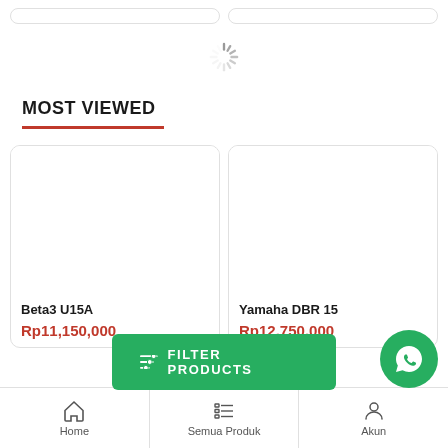[Figure (screenshot): Two partial product card outlines at the top of the page]
[Figure (screenshot): Loading spinner icon in the center of the page]
MOST VIEWED
[Figure (screenshot): Product card for Beta3 U15A with empty image area]
Beta3 U15A
Rp11,150,000
[Figure (screenshot): Product card for Yamaha DBR 15 with empty image area]
Yamaha DBR 15
Rp12,750,000
[Figure (screenshot): Green FILTER PRODUCTS button overlay]
[Figure (screenshot): WhatsApp green circle button]
Home | Semua Produk | Akun